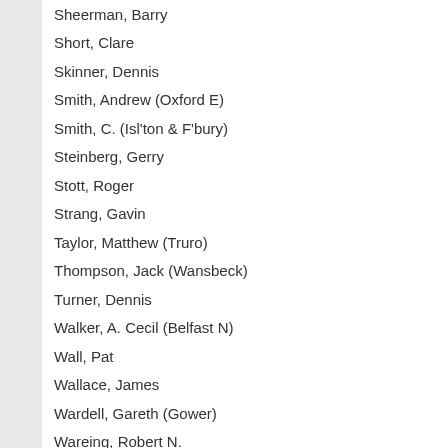Sheerman, Barry
Short, Clare
Skinner, Dennis
Smith, Andrew (Oxford E)
Smith, C. (Isl'ton & F'bury)
Steinberg, Gerry
Stott, Roger
Strang, Gavin
Taylor, Matthew (Truro)
Thompson, Jack (Wansbeck)
Turner, Dennis
Walker, A. Cecil (Belfast N)
Wall, Pat
Wallace, James
Wardell, Gareth (Gower)
Wareing, Robert N.
Welsh, Michael (Doncaster N)